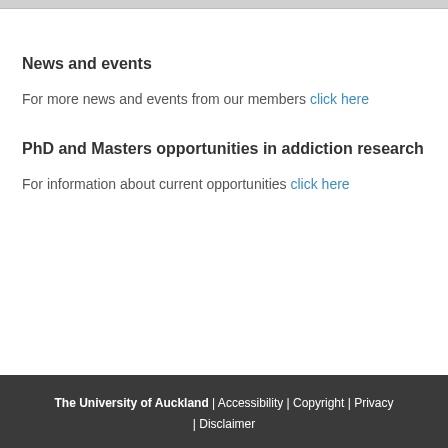News and events
For more news and events from our members click here
PhD and Masters opportunities in addiction research
For information about current opportunities click here
The University of Auckland | Accessibility | Copyright | Privacy | Disclaimer